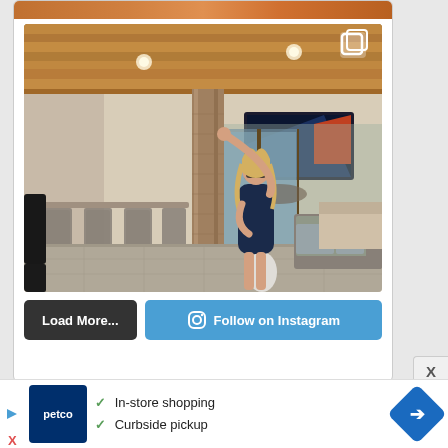[Figure (photo): Instagram post showing a woman in a navy blue dress standing in an upscale outdoor covered patio area with wooden ceiling, stone pillar, bar seating with grey wicker chairs, wall-mounted TV, and outdoor living furniture. A multi-image icon is visible in the top right corner of the photo.]
[Figure (screenshot): Two buttons below the Instagram photo: a dark grey 'Load More...' button on the left, and a blue 'Follow on Instagram' button with Instagram camera icon on the right.]
[Figure (photo): Partial top image strip showing warm orange/brown tones at the very top of the page, cut off.]
Load More...
Follow on Instagram
X
In-store shopping
Curbside pickup